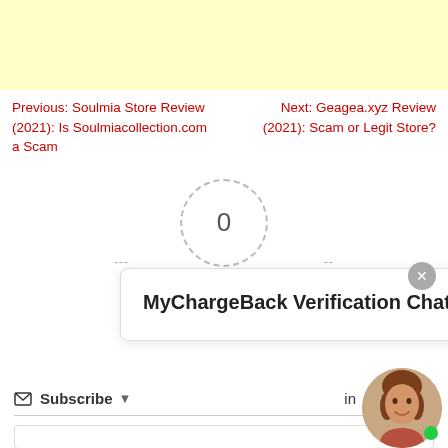[Figure (other): Light yellow advertisement banner at the top of the page]
Previous: Soulmia Store Review (2021): Is Soulmiacollection.com a Scam
Next: Geagea.xyz Review (2021): Scam or Legit Store?
[Figure (infographic): Article rating widget showing a dashed circle with 0 in the center, dashes on either side, label 'Article Rating' below, and a star icon]
[Figure (screenshot): MyChargeBack Verification Chat popup window with close button]
Subscribe
in
[Figure (photo): Avatar photo of a smiling woman with a green online indicator dot]